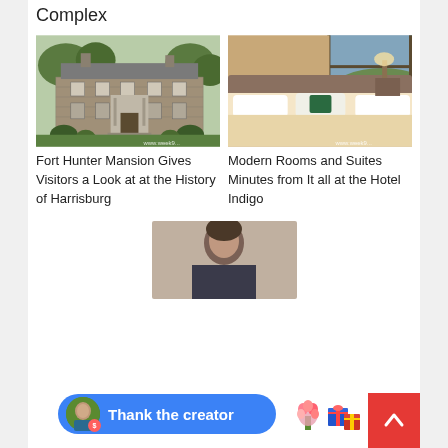Complex
[Figure (photo): Exterior photo of Fort Hunter Mansion, a historic stone building with trees]
Fort Hunter Mansion Gives Visitors a Look at at the History of Harrisburg
[Figure (photo): Hotel room interior with a large bed and window view at Hotel Indigo]
Modern Rooms and Suites Minutes from It all at the Hotel Indigo
[Figure (photo): Portrait photo of a woman outdoors]
Thank the creator